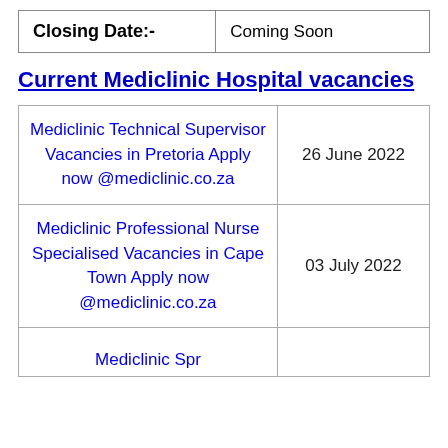| Closing Date:- |  |
| --- | --- |
| Closing Date:- | Coming Soon |
Current Mediclinic Hospital vacancies
| Position | Closing Date |
| --- | --- |
| Mediclinic Technical Supervisor Vacancies in Pretoria Apply now @mediclinic.co.za | 26 June 2022 |
| Mediclinic Professional Nurse Specialised Vacancies in Cape Town Apply now @mediclinic.co.za | 03 July 2022 |
| Mediclinic Spr... |  |